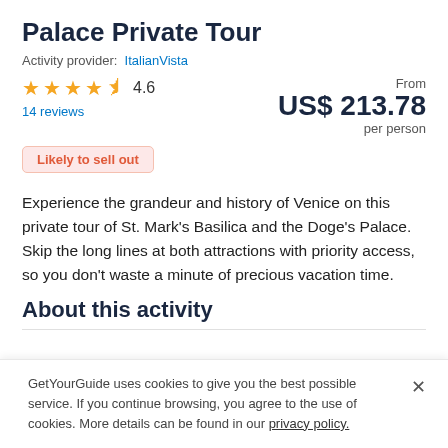Palace Private Tour
Activity provider: ItalianVista
★★★★✦ 4.6
14 reviews
From
US$ 213.78
per person
Likely to sell out
Experience the grandeur and history of Venice on this private tour of St. Mark's Basilica and the Doge's Palace. Skip the long lines at both attractions with priority access, so you don't waste a minute of precious vacation time.
About this activity
GetYourGuide uses cookies to give you the best possible service. If you continue browsing, you agree to the use of cookies. More details can be found in our privacy policy.